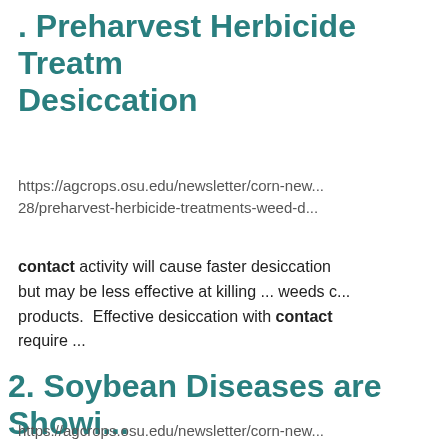Preharvest Herbicide Treatments Weed Desiccation
https://agcrops.osu.edu/newsletter/corn-new...28/preharvest-herbicide-treatments-weed-d...
contact activity will cause faster desiccation but may be less effective at killing ... weeds c... products. Effective desiccation with contact require ...
Soybean Diseases are Showing...
https://agcrops.osu.edu/newsletter/corn-new...